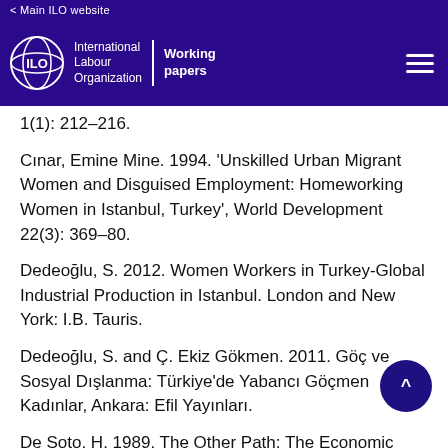< Main ILO website
[Figure (logo): ILO International Labour Organization Working papers logo and navigation header]
1(1): 212-216.
Cınar, Emine Mine. 1994. ‘Unskilled Urban Migrant Women and Disguised Employment: Homeworking Women in Istanbul, Turkey’, World Development 22(3): 369–80.
Dedeoğlu, S. 2012. Women Workers in Turkey-Global Industrial Production in Istanbul. London and New York: I.B. Tauris.
Dedeoğlu, S. and Ç. Ekiz Gökmen. 2011. Göç ve Sosyal Dışlanma: Türkiye’de Yabancı Göçmen Kadınlar, Ankara: Efil Yayınları.
De Soto, H. 1989. The Other Path: The Economic Answer to Terrorism, New York: Basic Books.